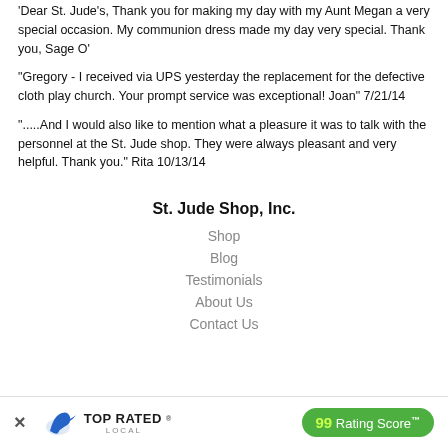'Dear St. Jude's, Thank you for making my day with my Aunt Megan a very special occasion.  My communion dress made my day very special.  Thank you, Sage O'
"Gregory - I received via UPS yesterday the replacement for the defective cloth play church.  Your prompt service was exceptional!  Joan"  7/21/14
".....And I would also like to mention what a pleasure it was to talk with the personnel at the St. Jude shop. They were always pleasant and very helpful.  Thank you."  Rita 10/13/14
St. Jude Shop, Inc.
Shop
Blog
Testimonials
About Us
Contact Us
[Figure (infographic): Top Rated Local banner with close button (×), bird logo, TOP RATED LOCAL text, and 99 Rating Score™ green pill button]